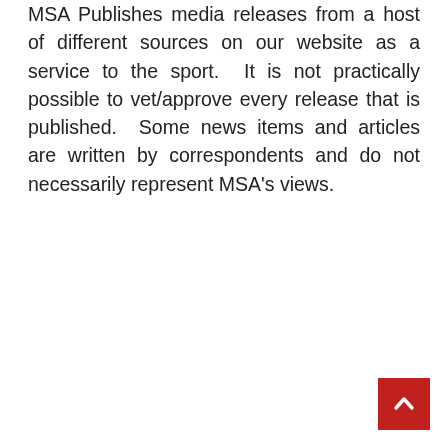MSA Publishes media releases from a host of different sources on our website as a service to the sport.  It is not practically possible to vet/approve every release that is published.  Some news items and articles are written by correspondents and do not necessarily represent MSA's views.
[Figure (other): Red back-to-top button with white upward chevron arrow in bottom-right corner]